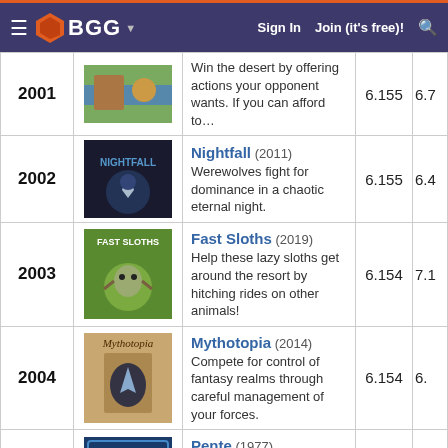BGG — Sign In  Join (it's free)!
| Rank | Image | Game | Score | Score2 |
| --- | --- | --- | --- | --- |
| 2001 | [image] | Win the desert by offering actions your opponent wants. If you can afford to… | 6.155 | 6.7… |
| 2002 | [Nightfall image] | Nightfall (2011) Werewolves fight for dominance in a chaotic eternal night. | 6.155 | 6.4… |
| 2003 | [Fast Sloths image] | Fast Sloths (2019) Help these lazy sloths get around the resort by hitching rides on other animals! | 6.154 | 7.1… |
| 2004 | [Mythotopia image] | Mythotopia (2014) Compete for control of fantasy realms through careful management of your forces. | 6.154 | 6.… |
| 2005 | [Pente image] | Pente (1977) A tactical abstract game won by 5-in-a-row or 5 captures. | 6.154 | 6.6… |
| 2006 | [Scrabble image] | Scrabble (1948) Carefully place your lettered… | 6.154 | 6.… |